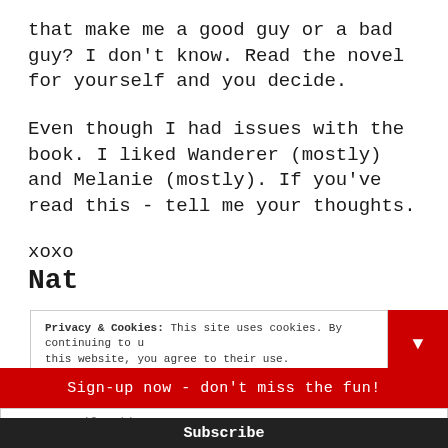that make me a good guy or a bad guy? I don't know. Read the novel for yourself and you decide.
Even though I had issues with the book. I liked Wanderer (mostly) and Melanie (mostly). If you've read this - tell me your thoughts.
xoxo
Nat
Privacy & Cookies: This site uses cookies. By continuing to use this website, you agree to their use.
Sign-up now - don't miss the fun!
Your email address..
Subscribe